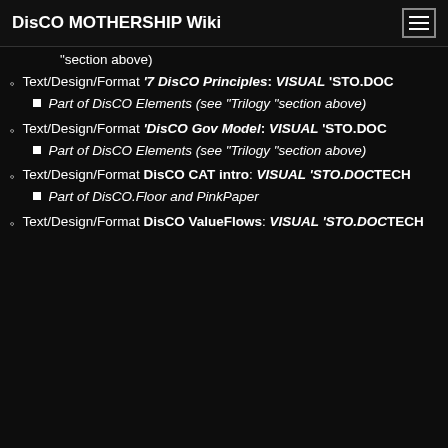DisCO MOTHERSHIP Wiki
"section above)
Text/Design/Format '7 DisCO Principles: VISUAL 'STO.DOC
Part of DisCO Elements (see "Trilogy "section above)
Text/Design/Format 'DisCO Gov Model: VISUAL 'STO.DOC
Part of DisCO Elements (see "Trilogy "section above)
Text/Design/Format DisCO CAT intro: VISUAL 'STO.DOC'TECH
Part of DisCO.Floor and PinkPaper
Text/Design/Format DisCO ValueFlows: VISUAL 'STO.DOC'TECH